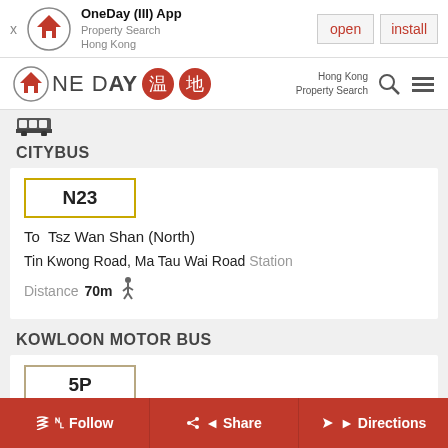OneDay (III) App - Property Search Hong Kong - open - install
[Figure (logo): OneDay property search Hong Kong app logo with navigation bar]
[Figure (illustration): Bus stop icon]
CITYBUS
N23
To Tsz Wan Shan (North)
Tin Kwong Road, Ma Tau Wai Road Station
Distance 70m
KOWLOON MOTOR BUS
5P
Follow  Share  Directions